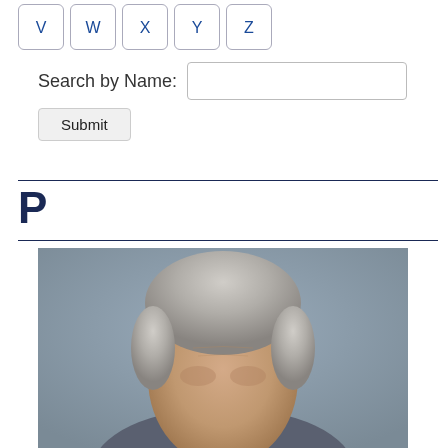V W X Y Z
Search by Name:
Submit
P
[Figure (photo): Headshot photo of an older man with gray/white hair against a gray background, cropped at the top of the frame]